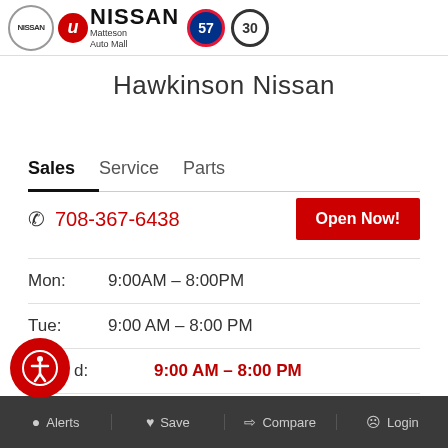NISSAN Matteson Auto Mall | 57 | 30
Hawkinson Nissan
Sales  Service  Parts
📞 708-367-6438   Open Now!
| Day | Hours |
| --- | --- |
| Mon: | 9:00AM – 8:00PM |
| Tue: | 9:00 AM – 8:00 PM |
| Wed: | 9:00 AM – 8:00 PM |
| Thu: | 9:00 AM – 8:00 PM |
Alerts  Save  Compare  Login